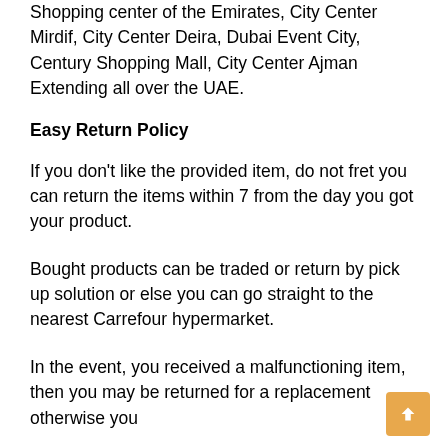Shopping center of the Emirates, City Center Mirdif, City Center Deira, Dubai Event City, Century Shopping Mall, City Center Ajman Extending all over the UAE.
Easy Return Policy
If you don’t like the provided item, do not fret you can return the items within 7 from the day you got your product.
Bought products can be traded or return by pick up solution or else you can go straight to the nearest Carrefour hypermarket.
In the event, you received a malfunctioning item, then you may be returned for a replacement otherwise you
can get full credit score in your account.